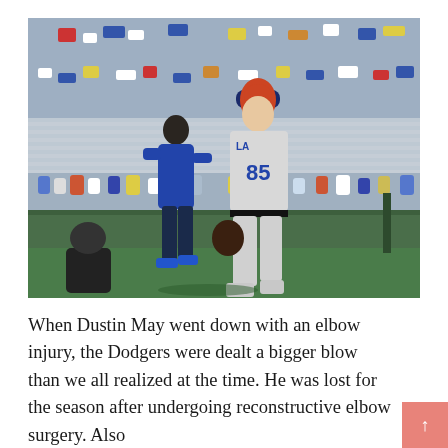[Figure (photo): A baseball player wearing a Los Angeles Dodgers gray uniform with number 85 and red hair walks off the field alongside a team trainer in a blue hoodie and navy pants. The stadium stands are filled with fans in the background.]
When Dustin May went down with an elbow injury, the Dodgers were dealt a bigger blow than we all realized at the time. He was lost for the season after undergoing reconstructive elbow surgery. Also